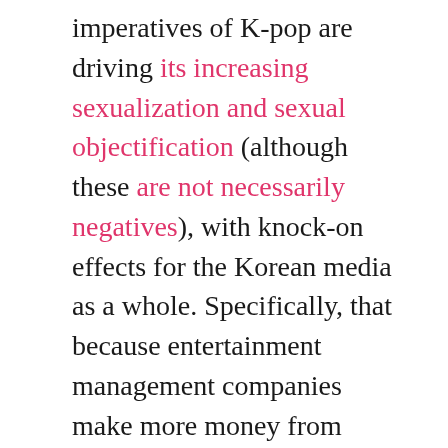imperatives of K-pop are driving its increasing sexualization and sexual objectification (although these are not necessarily negatives), with knock-on effects for the Korean media as a whole. Specifically, that because entertainment management companies make more money from groups' endorsements than their music, that “noise marketing” and ever more shocking “sexy concepts” are required to make them stand out from other groups. But frankly, I don’t think I’ve done my due diligence in confirming all the assumptions contained in that, nor addressed all the questions they raise. For instance: